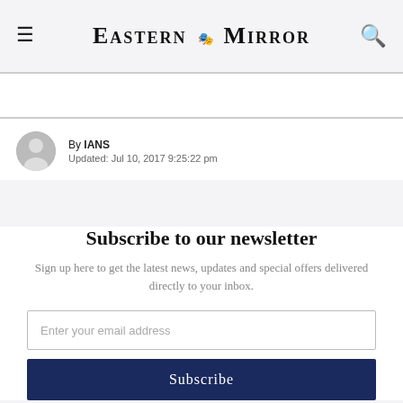Eastern Mirror
By IANS
Updated: Jul 10, 2017 9:25:22 pm
Subscribe to our newsletter
Sign up here to get the latest news, updates and special offers delivered directly to your inbox.
Enter your email address
Subscribe